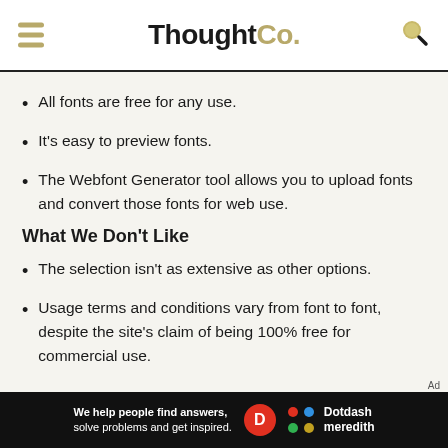ThoughtCo.
All fonts are free for any use.
It's easy to preview fonts.
The Webfont Generator tool allows you to upload fonts and convert those fonts for web use.
What We Don't Like
The selection isn't as extensive as other options.
Usage terms and conditions vary from font to font, despite the site's claim of being 100% free for commercial use.
[Figure (logo): Dotdash Meredith advertisement banner at bottom of page]